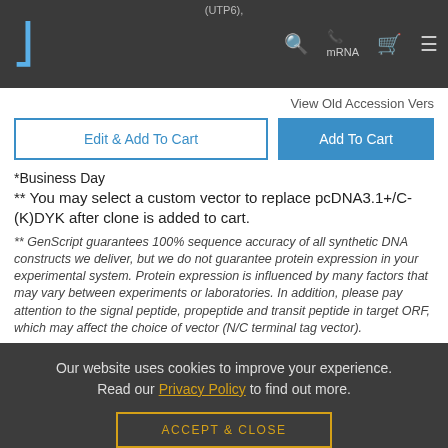(UTP6), mRNA — navigation bar with logo, search, phone, cart, menu icons
View Old Accession Vers
Edit & Add To Cart | Add To Cart
*Business Day
** You may select a custom vector to replace pcDNA3.1+/C-(K)DYK after clone is added to cart.
** GenScript guarantees 100% sequence accuracy of all synthetic DNA constructs we deliver, but we do not guarantee protein expression in your experimental system. Protein expression is influenced by many factors that may vary between experiments or laboratories. In addition, please pay attention to the signal peptide, propeptide and transit peptide in target ORF, which may affect the choice of vector (N/C terminal tag vector).
Our website uses cookies to improve your experience. Read our Privacy Policy to find out more.
ACCEPT & CLOSE